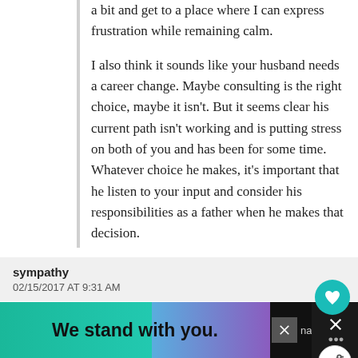a bit and get to a place where I can express frustration while remaining calm.
I also think it sounds like your husband needs a career change. Maybe consulting is the right choice, maybe it isn't. But it seems clear his current path isn't working and is putting stress on both of you and has been for some time. Whatever choice he makes, it's important that he listen to your input and consider his responsibilities as a father when he makes that decision.
sympathy
02/15/2017 AT 9:31 AM
If your marriage is otherwise solid, I'm not sure why you're thinking divorce instead of therapy (for him and/or both) and career coaching/counseling for him.
[Figure (infographic): Black ad banner at bottom reading 'We stand with you.' in bold white text on black background with teal/green and blue/purple color blocks, close button X visible]